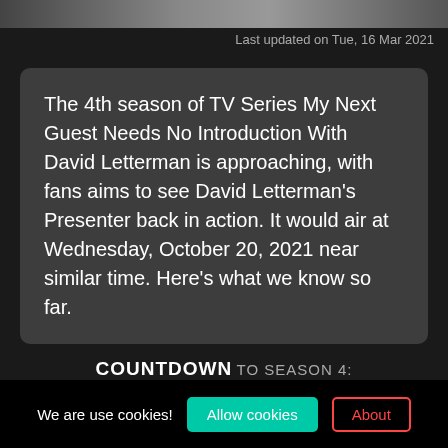[Figure (photo): Partial photo strip visible at top of page, cropped images]
Last updated on Tue, 16 Mar 2021
The 4th season of TV Series My Next Guest Needs No Introduction With David Letterman is approaching, with fans aims to see David Letterman's Presenter back in action. It would air at Wednesday, October 20, 2021 near similar time. Here's what we know so far.
COUNTDOWN TO SEASON 4:
We are use cookies! Allow cookies About